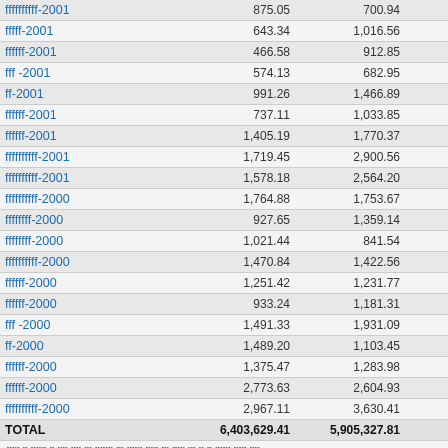| Name | Col2 | Col3 | Diff |
| --- | --- | --- | --- |
| ffffffffff-2001 | 875.05 | 700.94 | 108 |
| fffff-2001 | 643.34 | 1,016.56 | -373 |
| ffffff-2001 | 466.58 | 912.85 | -446 |
| fff -2001 | 574.13 | 682.95 | -108 |
| ff-2001 | 991.26 | 1,466.89 | -475 |
| ffffff-2001 | 737.11 | 1,033.85 | -296 |
| ffffff-2001 | 1,405.19 | 1,770.37 | -357 |
| ffffffffff-2001 | 1,719.45 | 2,900.56 | -1,181 |
| ffffffffff-2001 | 1,578.18 | 2,564.20 | -924 |
| ffffffffff-2000 | 1,764.88 | 1,753.67 | 11 |
| ffffffff-2000 | 927.65 | 1,359.14 | -431 |
| ffffffff-2000 | 1,021.44 | 841.54 | 179 |
| ffffffffff-2000 | 1,470.84 | 1,422.56 | 243 |
| ffffff-2000 | 1,251.42 | 1,231.77 | 19 |
| ffffff-2000 | 933.24 | 1,181.31 | -248 |
| fff -2000 | 1,491.33 | 1,931.09 | -439 |
| ff-2000 | 1,489.20 | 1,103.45 | 385 |
| ffffff-2000 | 1,375.47 | 1,283.98 | 91 |
| ffffff-2000 | 2,773.63 | 2,604.93 | 168 |
| ffffffffff-2000 | 2,967.11 | 3,630.41 | -663 |
| TOTAL | 6,403,629.41 | 5,905,327.81 | 501,209 |
fffff ff ffffff ff ffff ffff fff fffffff fff ffffff fffff fff fffff fff ff ff ffffff fffff ffff